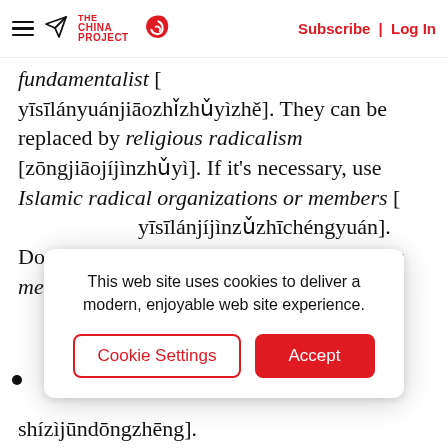THE CHINA PROJECT | Subscribe | Log In
fundamentalist [yīsīlányuánjiāozhǐzhǔyìzhě]. They can be replaced by religious radicalism [zōngjiāojíjìnzhǔyì]. If it's necessary, use Islamic radical organizations or members [yīsīlánjíjìnzǔzhīchéngyuán]. Do not use radical Islamic organizations or members [
[Figure (infographic): Cookie consent banner with text 'This web site uses cookies to deliver a modern, enjoyable web site experience.' and two buttons: 'Cookie Settings' and 'Accept']
shízìjūndōngzhēng].